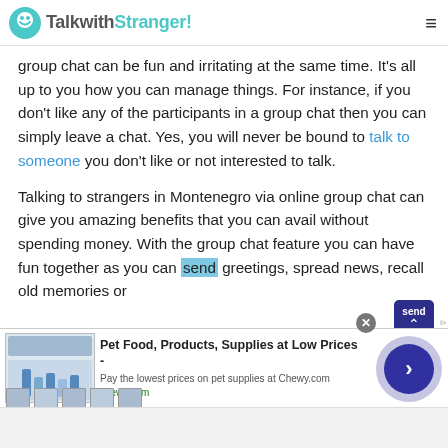TalkwithStranger!
group chat can be fun and irritating at the same time. It's all up to you how you can manage things. For instance, if you don't like any of the participants in a group chat then you can simply leave a chat. Yes, you will never be bound to talk to someone you don't like or not interested to talk.
Talking to strangers in Montenegro via online group chat can give you amazing benefits that you can avail without spending money. With the group chat feature you can have fun together as you can send greetings, spread news, recall old memories or
Pet Food, Products, Supplies at Low Prices - Pay the lowest prices on pet supplies at Chewy.com chewy.com